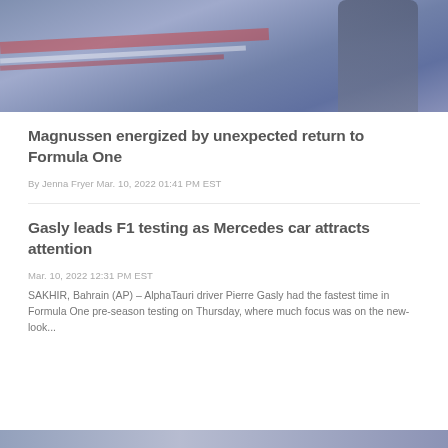[Figure (photo): A racing driver or Formula One personality seated, wearing dark team gear, with colorful red/white/blue stripes in the background, faded/muted color tone.]
Magnussen energized by unexpected return to Formula One
By Jenna Fryer Mar. 10, 2022 01:41 PM EST
Gasly leads F1 testing as Mercedes car attracts attention
Mar. 10, 2022 12:31 PM EST
SAKHIR, Bahrain (AP) – AlphaTauri driver Pierre Gasly had the fastest time in Formula One pre-season testing on Thursday, where much focus was on the new-look...